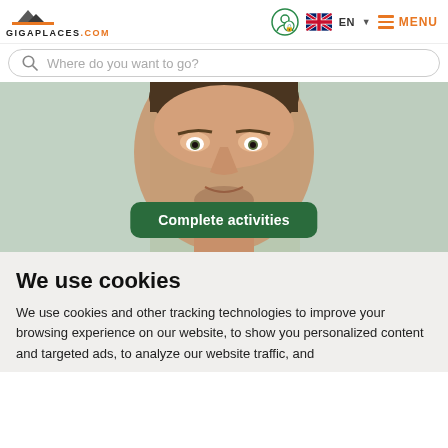[Figure (logo): GIGAPLACES.COM logo with mountain icon]
[Figure (infographic): Header navigation with user icon, UK flag language selector EN, and MENU button]
Where do you want to go?
[Figure (photo): Close-up photo of a man's face looking at the camera with a green Complete activities button overlay]
We use cookies
We use cookies and other tracking technologies to improve your browsing experience on our website, to show you personalized content and targeted ads, to analyze our website traffic, and